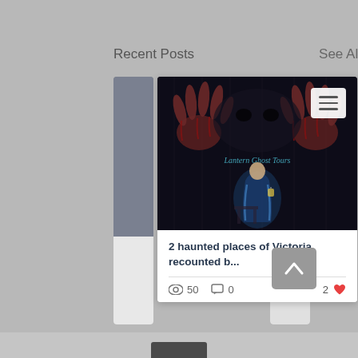Recent Posts
See All
[Figure (screenshot): Blog post card showing a horror/ghost tour image with bloody hands on a dark background and a ghost tour guide figure. Card displays post title '2 haunted places of Victoria, recounted b...' with view count 50, comment count 0, and like count 2.]
2 haunted places of Victoria, recounted b...
50
0
2